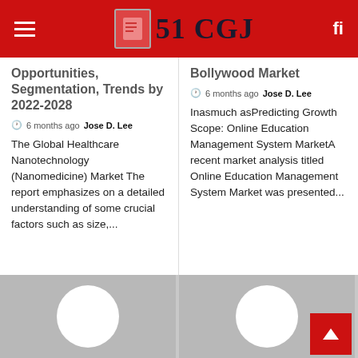51 CGJ
Opportunities, Segmentation, Trends by 2022-2028
6 months ago  Jose D. Lee
The Global Healthcare Nanotechnology (Nanomedicine) Market The report emphasizes on a detailed understanding of some crucial factors such as size,...
Bollywood Market
6 months ago  Jose D. Lee
Inasmuch asPredicting Growth Scope: Online Education Management System MarketA recent market analysis titled Online Education Management System Market was presented...
[Figure (photo): Grey placeholder image with white circle, left column]
[Figure (photo): Grey placeholder image with white circle, right column, with red scroll-to-top button overlay]